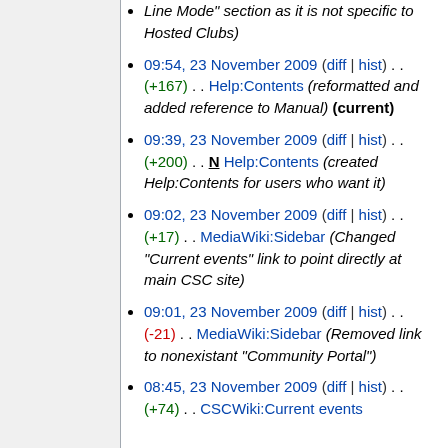Line Mode" section as it is not specific to Hosted Clubs)
09:54, 23 November 2009 (diff | hist) . . (+167) . . Help:Contents (reformatted and added reference to Manual) (current)
09:39, 23 November 2009 (diff | hist) . . (+200) . . N Help:Contents (created Help:Contents for users who want it)
09:02, 23 November 2009 (diff | hist) . . (+17) . . MediaWiki:Sidebar (Changed "Current events" link to point directly at main CSC site)
09:01, 23 November 2009 (diff | hist) . . (-21) . . MediaWiki:Sidebar (Removed link to nonexistant "Community Portal")
08:45, 23 November 2009 (diff | hist) . . (+74) . . CSCWiki:Current events